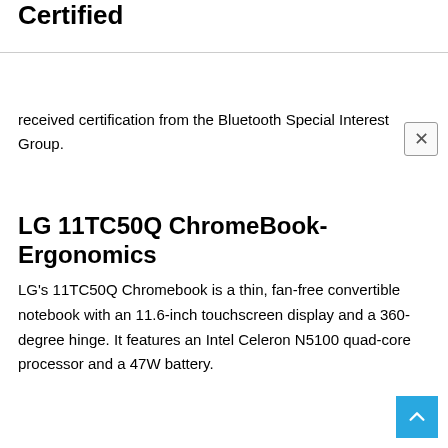Certified
received certification from the Bluetooth Special Interest Group.
LG 11TC50Q ChromeBook- Ergonomics
LG's 11TC50Q Chromebook is a thin, fan-free convertible notebook with an 11.6-inch touchscreen display and a 360-degree hinge. It features an Intel Celeron N5100 quad-core processor and a 47W battery.